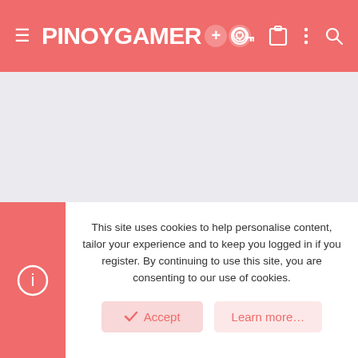PINOYGAMER
[Figure (other): Advertisement placeholder area, light gray background]
Share:
Similar threads
This site uses cookies to help personalise content, tailor your experience and to keep you logged in if you register. By continuing to use this site, you are consenting to our use of cookies.
Accept
Learn more...